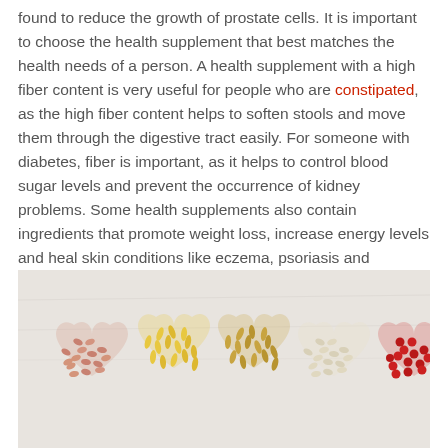found to reduce the growth of prostate cells. It is important to choose the health supplement that best matches the health needs of a person. A health supplement with a high fiber content is very useful for people who are constipated, as the high fiber content helps to soften stools and move them through the digestive tract easily. For someone with diabetes, fiber is important, as it helps to control blood sugar levels and prevent the occurrence of kidney problems. Some health supplements also contain ingredients that promote weight loss, increase energy levels and heal skin conditions like eczema, psoriasis and chapped lips.
[Figure (photo): Five heart-shaped arrangements of colorful supplement pills/capsules on a light marble background. From left to right: pink/salmon-colored small pills, yellow elongated capsules, golden/tan capsules, cream/white small pills, and red round pills.]